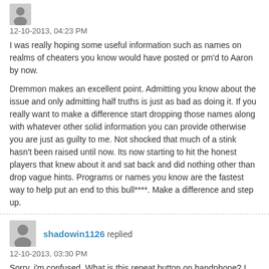12-10-2013, 04:23 PM
I was really hoping some useful information such as names on realms of cheaters you know would have posted or pm'd to Aaron by now.

Dremmon makes an excellent point. Admitting you know about the issue and only admitting half truths is just as bad as doing it. If you really want to make a difference start dropping those names along with whatever other solid information you can provide otherwise you are just as guilty to me. Not shocked that much of a stink hasn't been raised until now. Its now starting to hit the honest players that knew about it and sat back and did nothing other than drop vague hints. Programs or names you know are the fastest way to help put an end to this bull****. Make a difference and step up.
shadowin1126 replied
12-10-2013, 03:30 PM
Sorry, i'm confused. What is this repeat button on handphone? I only know there's menu button, back button and home button. Does his message means that he have written a program specifically to hack this game?
Aaron_Kabam replied